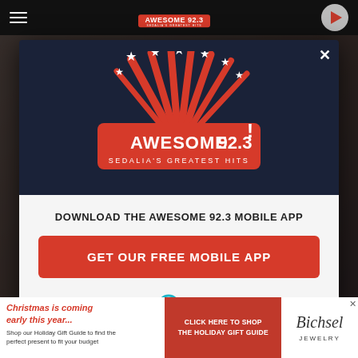[Figure (screenshot): Website screenshot showing a modal popup for Awesome 92.3 radio station app download, overlaid on a dark background webpage. Top navigation bar visible.]
[Figure (logo): Awesome 92.3 Sedalia's Greatest Hits logo with red burst design and stars]
DOWNLOAD THE AWESOME 92.3 MOBILE APP
GET OUR FREE MOBILE APP
Also listen on: amazon alexa
[Figure (illustration): Amazon Alexa logo with teal ring icon and 'amazon alexa' text]
[Figure (photo): Advertisement banner: Christmas is coming early this year... Shop our Holiday Gift Guide to find the perfect present to fit your budget. CLICK HERE TO SHOP THE HOLIDAY GIFT GUIDE. Bichsel Jewelry logo.]